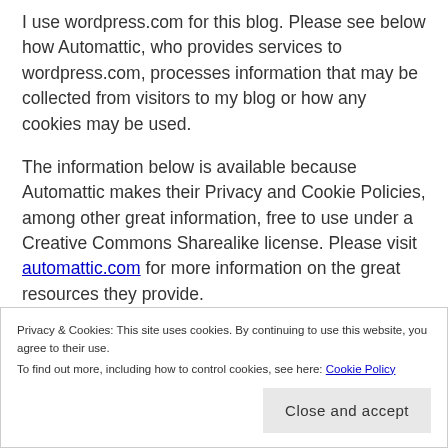I use wordpress.com for this blog. Please see below how Automattic, who provides services to wordpress.com, processes information that may be collected from visitors to my blog or how any cookies may be used.
The information below is available because Automattic makes their Privacy and Cookie Policies, among other great information, free to use under a Creative Commons Sharealike license. Please visit automattic.com for more information on the great resources they provide.
Privacy & Cookies: This site uses cookies. By continuing to use this website, you agree to their use.
To find out more, including how to control cookies, see here: Cookie Policy